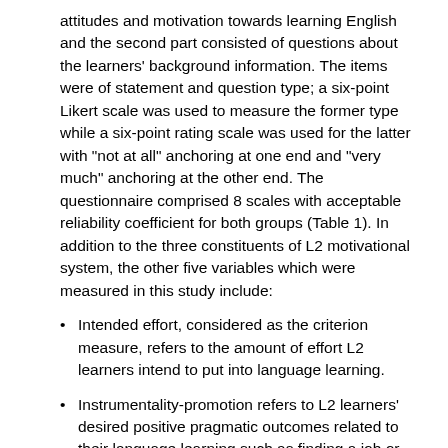attitudes and motivation towards learning English and the second part consisted of questions about the learners' background information. The items were of statement and question type; a six-point Likert scale was used to measure the former type while a six-point rating scale was used for the latter with "not at all" anchoring at one end and "very much" anchoring at the other end. The questionnaire comprised 8 scales with acceptable reliability coefficient for both groups (Table 1). In addition to the three constituents of L2 motivational system, the other five variables which were measured in this study include:
Intended effort, considered as the criterion measure, refers to the amount of effort L2 learners intend to put into language learning.
Instrumentality-promotion refers to L2 learners' desired positive pragmatic outcomes related to their language learning such as finding a job or studying at university.
Instrumentality-prevention refers to the language learning associated negative pragmatic outcomes that